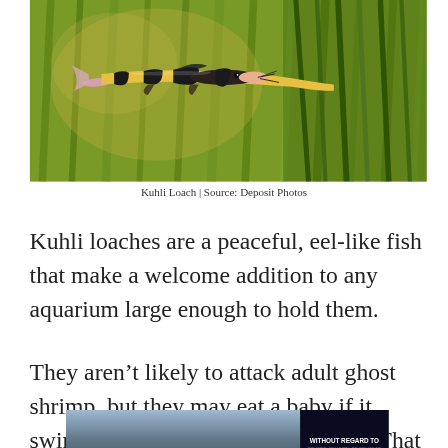[Figure (photo): Close-up photograph of a Kuhli Loach fish with distinctive black and yellow banding pattern, swimming among green aquatic plants]
Kuhli Loach | Source: Deposit Photos
Kuhli loaches are a peaceful, eel-like fish that make a welcome addition to any aquarium large enough to hold them.
They aren't likely to attack adult ghost shrimp, but they may eat a baby if it swims close enough to their mouth.  That having
[Figure (photo): Advertisement banner showing airplane cargo loading with text 'WITHOUT REGARD TO POLITICS, RELIGION, OR ABILITY TO PAY']